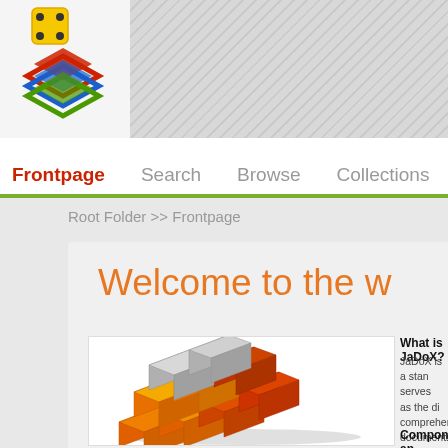[Figure (logo): JaDoX logo with layered diamond shapes in red, blue, green and a yellow game die icon]
Frontpage   Search   Browse   Collections   News   Guest
Root Folder >> Frontpage
Welcome to the w
[Figure (illustration): 3D Rubik's cube style illustration with yellow, orange, and gray colored blocks]
What is JaDoX?
JaDoX is a stand serves as the di comprehensive documents. In f library.
Components an